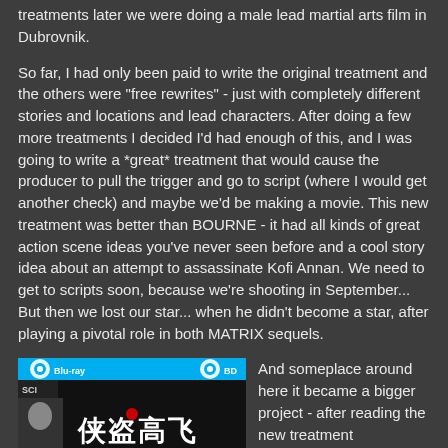treatments later we were doing a male lead martial arts film in Dubrovnik.
So far, I had only been paid to write the original treatment and the others were “free rewrites” - just with completely different stories and locations and lead characters. After doing a few more treatments I decided I’d had enough of this, and I was going to write a *great* treatment that would cause the producer to pull the trigger and go to script (where I would get another check) and maybe we’d be making a movie. This new treatment was better than BOURNE - it had all kinds of great action scene ideas you’ve never seen before and a cool story idea about an attempt to assassinate Kofi Annan. We need to get to scripts soon, because we’re shooting in September... But then we lost our star... when he didn’t become a star, after playing a pivotal role in both MATRIX sequels.
[Figure (photo): Blu-ray disc cover of 'Full Contact' (侠盗高飞), showing Chinese characters and the subtitle 'Full Contact' on a mostly dark cover with a Blu-ray logo in cyan at the top.]
And someplace around here it became a bigger project - after reading the new treatment